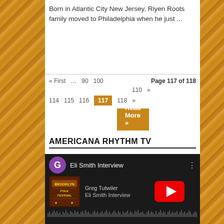Born in Atlantic City New Jersey, Riyen Roots family moved to Philadelphia when he just ...
Read More »
« First  …  90  100  Page 117 of 118  110  «  114  115  116  117  118  »
AMERICANA RHYTHM TV
[Figure (screenshot): YouTube video player showing 'Eli Smith Interview' by Greg Tutwiler, with Brooklyn Folk Festival album art, purple G avatar, red play button, and audio waveform at bottom]